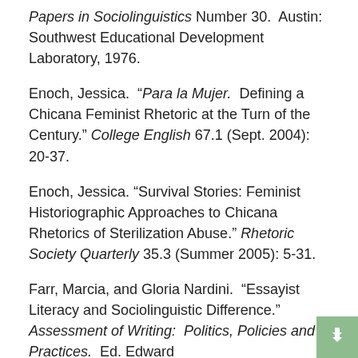Papers in Sociolinguistics Number 30.  Austin: Southwest Educational Development Laboratory, 1976.
Enoch, Jessica.  "Para la Mujer.  Defining a Chicana Feminist Rhetoric at the Turn of the Century."  College English 67.1 (Sept. 2004):  20-37.
Enoch, Jessica. "Survival Stories: Feminist Historiographic Approaches to Chicana Rhetorics of Sterilization Abuse." Rhetoric Society Quarterly 35.3 (Summer 2005): 5-31.
Farr, Marcia, and Gloria Nardini.  "Essayist Literacy and Sociolinguistic Difference."  Assessment of Writing:  Politics, Policies and Practices.  Ed. Edward